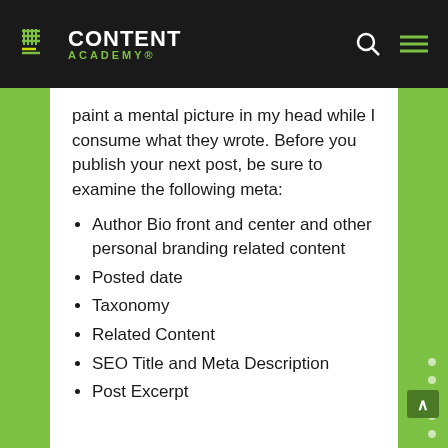[Figure (logo): Content Academy logo with green grid icon on dark background header bar with search and menu icons]
paint a mental picture in my head while I consume what they wrote. Before you publish your next post, be sure to examine the following meta:
Author Bio front and center and other personal branding related content
Posted date
Taxonomy
Related Content
SEO Title and Meta Description
Post Excerpt